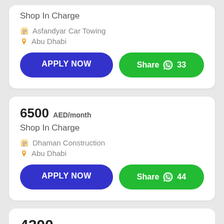Shop In Charge
Asfandyar Car Towing
Abu Dhabi
APPLY NOW
Share 33
6500 AED/month
Shop In Charge
Dhaman Construction
Abu Dhabi
APPLY NOW
Share 44
4200